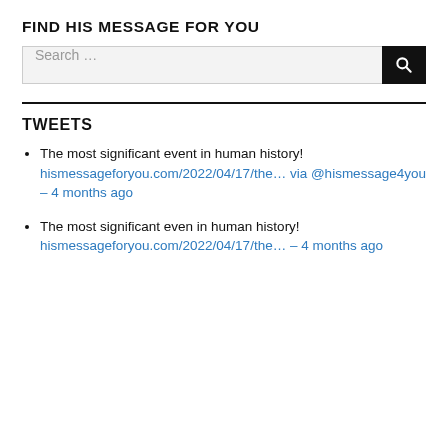FIND HIS MESSAGE FOR YOU
[Figure (other): Search bar with text 'Search ...' and a black search button with magnifying glass icon]
TWEETS
The most significant event in human history! hismessageforyou.com/2022/04/17/the... via @hismessage4you - 4 months ago
The most significant even in human history! hismessageforyou.com/2022/04/17/the... - 4 months ago